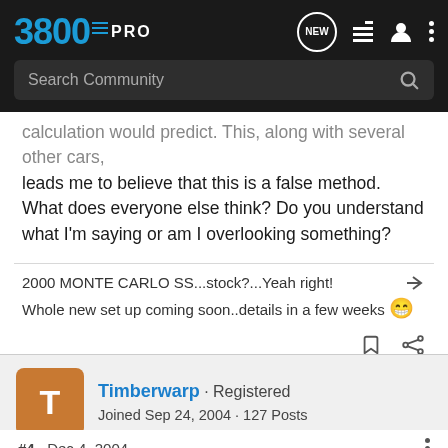3800PRO — Navigation header with search bar
calculation would predict. This, along with several other cars, leads me to believe that this is a false method. What does everyone else think? Do you understand what I'm saying or am I overlooking something?
2000 MONTE CARLO SS...stock?...Yeah right!
Whole new set up coming soon..details in a few weeks 😁
Timberwarp · Registered
Joined Sep 24, 2004 · 127 Posts
#4 · Dec 4, 2004